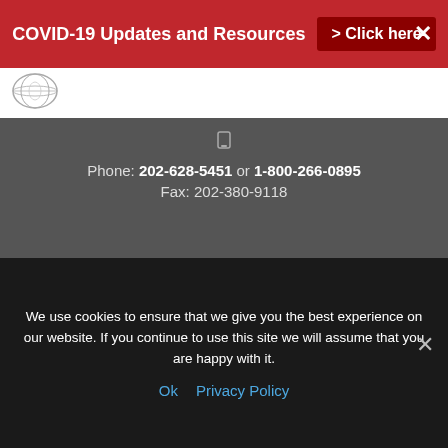COVID-19 Updates and Resources > Click here ✕
[Figure (logo): Organization logo circle with radar/globe graphic]
Phone: 202-628-5451 or 1-800-266-0895
Fax: 202-380-9118
[Figure (illustration): Map pin / location icon]
1325 Massachusetts Avenue
N.W. Washington, DC. 20005 U.S.
[Figure (logo): Organization circular logo with crown/building icon and red text]
We use cookies to ensure that we give you the best experience on our website. If you continue to use this site we will assume that you are happy with it.
Ok   Privacy Policy